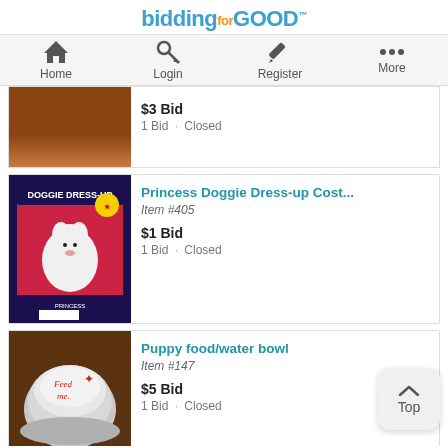biddingforGOOD
Home
Login
Register
More
$3 Bid
1 Bid · Closed
Princess Doggie Dress-up Cost...
Item #405
$1 Bid
1 Bid · Closed
Puppy food/water bowl
Item #147
$5 Bid
1 Bid · Closed